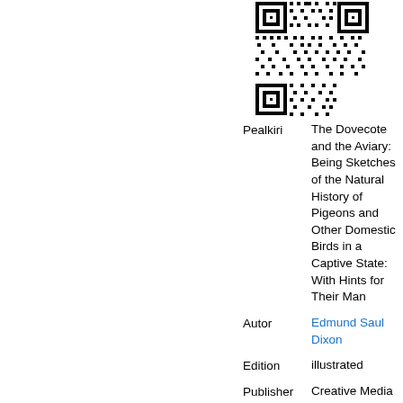[Figure (other): QR code image in black and white]
| Pealkiri | The Dovecote and the Aviary: Being Sketches of the Natural History of Pigeons and Other Domestic Birds in a Captive State: With Hints for Their Man |
| Autor | Edmund Saul Dixon |
| Edition | illustrated |
| Publisher | Creative Media Partners, LLC, 2015 |